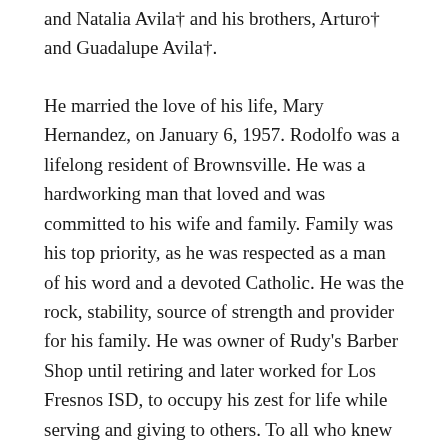and Natalia Avila† and his brothers, Arturo† and Guadalupe Avila†.
He married the love of his life, Mary Hernandez, on January 6, 1957. Rodolfo was a lifelong resident of Brownsville. He was a hardworking man that loved and was committed to his wife and family. Family was his top priority, as he was respected as a man of his word and a devoted Catholic. He was the rock, stability, source of strength and provider for his family. He was owner of Rudy's Barber Shop until retiring and later worked for Los Fresnos ISD, to occupy his zest for life while serving and giving to others. To all who knew him, he was a unique and caring individual who touched lives and in return touched his.
He is survived by his beloved wife of 65 years, Mary, and their 5 children, Margaret...